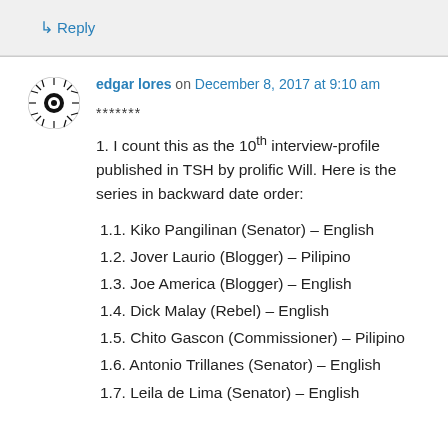↳ Reply
edgar lores on December 8, 2017 at 9:10 am
*******
1. I count this as the 10th interview-profile published in TSH by prolific Will. Here is the series in backward date order:
1.1. Kiko Pangilinan (Senator) – English
1.2. Jover Laurio (Blogger) – Pilipino
1.3. Joe America (Blogger) – English
1.4. Dick Malay (Rebel) – English
1.5. Chito Gascon (Commissioner) – Pilipino
1.6. Antonio Trillanes (Senator) – English
1.7. Leila de Lima (Senator) – English